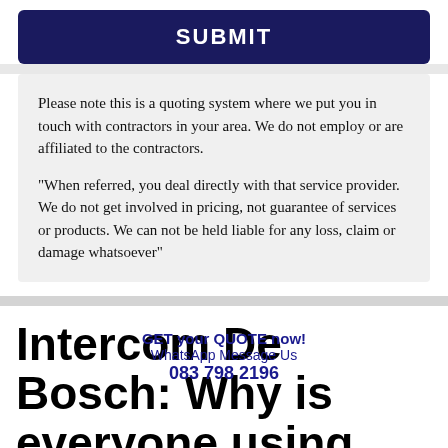[Figure (other): Dark navy blue SUBMIT button]
Please note this is a quoting system where we put you in touch with contractors in your area. We do not employ or are affiliated to the contractors.

"When referred, you deal directly with that service provider. We do not get involved in pricing, not guarantee of services or products. We can not be held liable for any loss, claim or damage whatsoever"
GET your QUOTE now!
WhatsApp Message Us
083 798 2196
Intercom De Bosch: Why is everyone using Intercom systems?